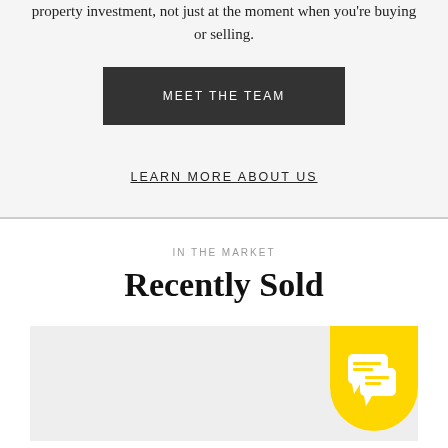property investment, not just at the moment when you're buying or selling.
MEET THE TEAM
LEARN MORE ABOUT US
IN THE MARKET
Recently Sold
[Figure (other): Gray placeholder card area with a yellow shield chat badge icon in the bottom right corner]